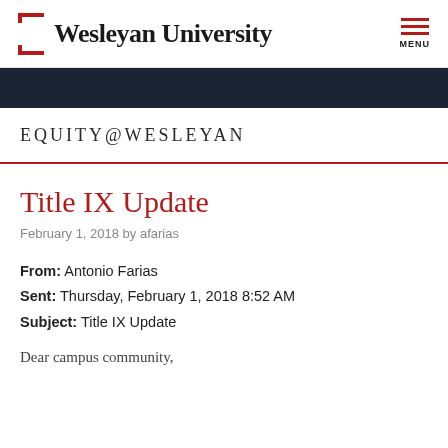Wesleyan University  MENU
EQUITY@WESLEYAN
Title IX Update
February 1, 2018 by afarias
From: Antonio Farias
Sent: Thursday, February 1, 2018 8:52 AM
Subject: Title IX Update
Dear campus community,